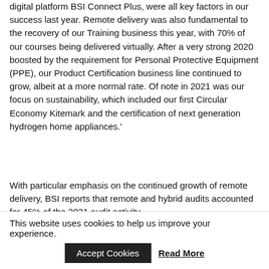digital platform BSI Connect Plus, were all key factors in our success last year. Remote delivery was also fundamental to the recovery of our Training business this year, with 70% of our courses being delivered virtually. After a very strong 2020 boosted by the requirement for Personal Protective Equipment (PPE), our Product Certification business line continued to grow, albeit at a more normal rate. Of note in 2021 was our focus on sustainability, which included our first Circular Economy Kitemark and the certification of next generation hydrogen home appliances.'
With particular emphasis on the continued growth of remote delivery, BSI reports that remote and hybrid audits accounted for 45% of the 2021 audit activity.
Overall for BSI, the importance of sustainability was noted, with BSI stating, 'Sustainability is one of the major disruptors of our time and is a strategic priority for BSI'
This website uses cookies to help us improve your experience.
Accept Cookies
Read More